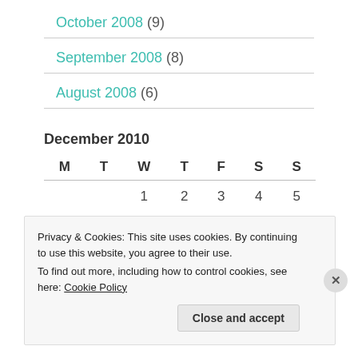October 2008 (9)
September 2008 (8)
August 2008 (6)
December 2010
| M | T | W | T | F | S | S |
| --- | --- | --- | --- | --- | --- | --- |
|  |  | 1 | 2 | 3 | 4 | 5 |
Privacy & Cookies: This site uses cookies. By continuing to use this website, you agree to their use. To find out more, including how to control cookies, see here: Cookie Policy
Close and accept